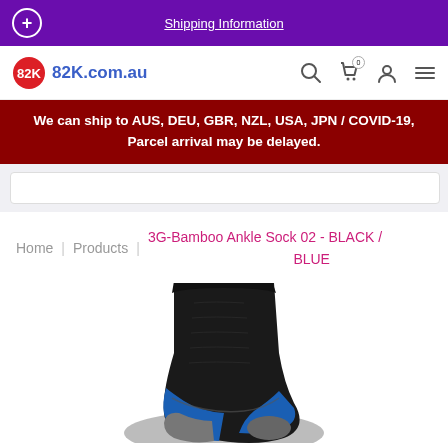Shipping Information
82K.com.au
We can ship to AUS, DEU, GBR, NZL, USA, JPN / COVID-19, Parcel arrival may be delayed.
Home | Products | 3G-Bamboo Ankle Sock 02 - BLACK / BLUE
[Figure (photo): Black and blue ankle sock product photo, partially visible at bottom of page]